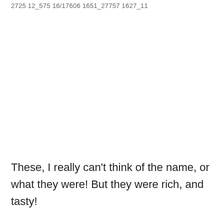2725 12_575 16/17606 1651_27757 1627_11
These, I really can't think of the name, or what they were! But they were rich, and tasty!